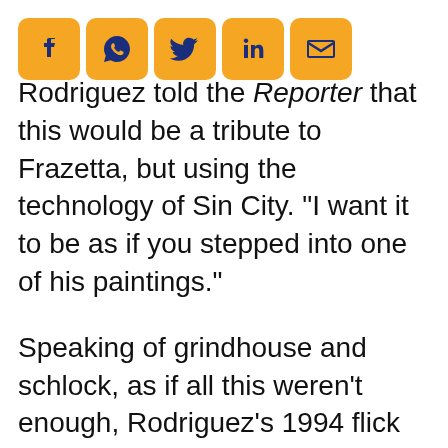[Figure (other): Social media sharing icons: Facebook, WhatsApp, Twitter, LinkedIn, Email — orange rounded square buttons with dark navy icons]
Rodriguez told the Reporter that this would be a tribute to Frazetta, but using the technology of Sin City. “I want it to be as if you stepped into one of his paintings.”
Speaking of grindhouse and schlock, as if all this weren’t enough, Rodriguez’s 1994 flick Road Racers is also going to be headed to Blu-Ray. This was part of a series of stories Rodriguez and several other filmmakers made for Showtime under the Rebel Highway series